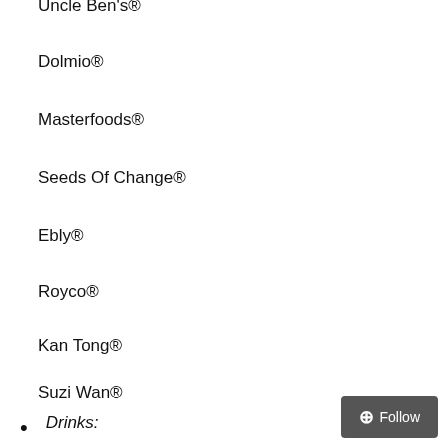Uncle Ben's®
Dolmio®
Masterfoods®
Seeds Of Change®
Ebly®
Royco®
Kan Tong®
Suzi Wan®
Raris®
Drinks: